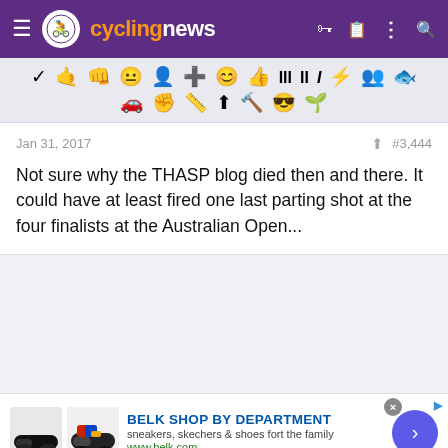cyclingnews
[Figure (screenshot): Toolbar with emoji/icon buttons for text formatting and reactions in two rows]
Jan 31, 2017   #3,444
Not sure why the THASP blog died then and there. It could have at least fired one last parting shot at the four finalists at the Australian Open...
[Figure (infographic): Advertisement for Belk Shop by Department showing sneakers and shoes with arrow button, URL www.belk.com]